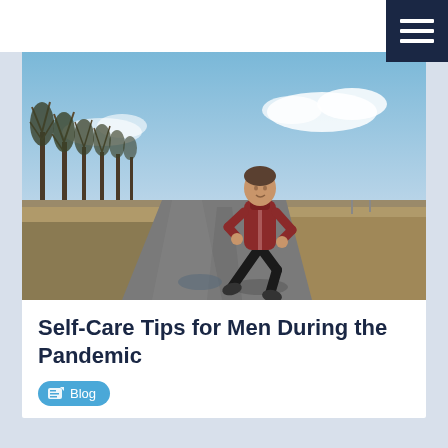[Figure (screenshot): Website header with white background and dark navy hamburger menu button in top-right corner]
[Figure (photo): Man in a dark red/maroon jacket and black pants running on a rural road with trees on the left and open fields on the right under a blue sky with clouds]
Self-Care Tips for Men During the Pandemic
Blog